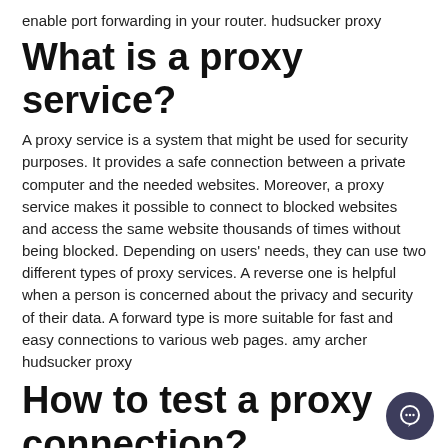enable port forwarding in your router. hudsucker proxy
What is a proxy service?
A proxy service is a system that might be used for security purposes. It provides a safe connection between a private computer and the needed websites. Moreover, a proxy service makes it possible to connect to blocked websites and access the same website thousands of times without being blocked. Depending on users' needs, they can use two different types of proxy services. A reverse one is helpful when a person is concerned about the privacy and security of their data. A forward type is more suitable for fast and easy connections to various web pages. amy archer hudsucker proxy
How to test a proxy connection?
You may want to check the proxy connection for